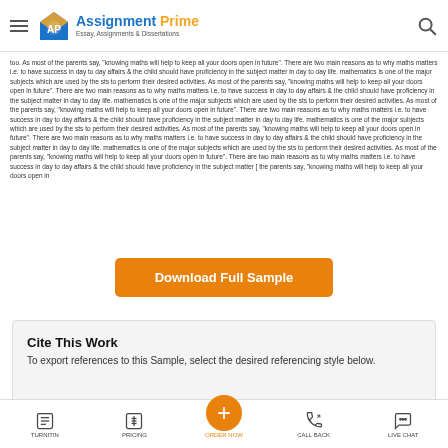Assignment Prime — Essay, Assignments & Dissertations
too. As most of the parents say, "knowing maths will help to keep all your doors open in future". There are two main reasons as to why maths matters i.e. to have success in day to day affairs & the child should have proficiency in the subject matter in day to day life. mathematics is one of the major subjects which are used by the sts to perform their desired activities. As most of the parents say, "knowing maths will help to keep all your doors open in future". There are two main reasons as to why maths matters i.e. to have success in day to day affairs & the child should have proficiency in the subject matter in day to day life. mathematics is one of the major subjects which are used by the sts to perform their desired activities. As most of the parents say, "knowing maths will help to keep all your doors open in future". There are two main reasons as to why maths matters i.e. to have success in day to day affairs & the child should have proficiency in the subject matter in day to day life. mathematics is one of the major subjects which are used by the sts to perform their desired activities. As most of the parents say, "knowing maths will help to keep all your doors open in future". There are two main reasons as to why maths matters i.e. to have success in day to day affairs & the child should have proficiency in the subject matter [ the parents say, "knowing maths will help to keep all your doors open in
[Figure (other): Orange 'Download Full Sample' button]
Cite This Work
To export references to this Sample, select the desired referencing style below.
We use cookies to ensure that we give you the best experience on our website. If you continue
TURNITIN | PRICING | ORDER NOW | CALL BACK | LIVE CHAT